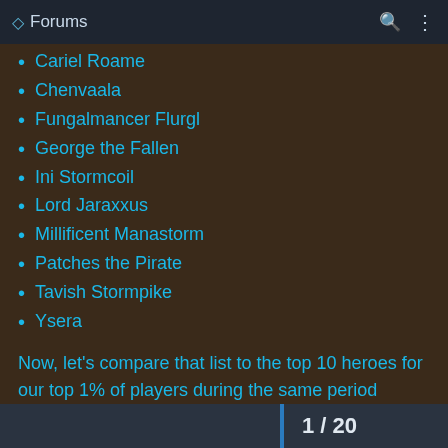Forums
Cariel Roame
Chenvaala
Fungalmancer Flurgl
George the Fallen
Ini Stormcoil
Lord Jaraxxus
Millificent Manastorm
Patches the Pirate
Tavish Stormpike
Ysera
Now, let's compare that list to the top 10 heroes for our top 1% of players during the same period (again, in alphabetical order):
Aranna Starseeker
1 / 20